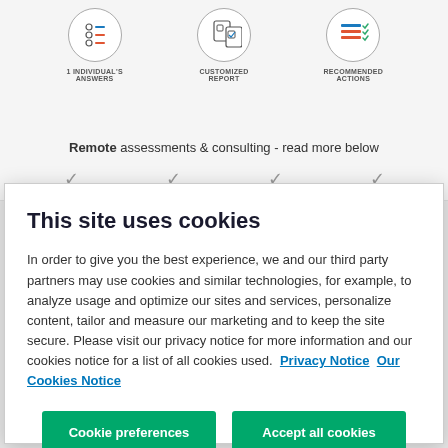[Figure (screenshot): Website page background showing three circular icons with labels: 1 INDIVIDUAL'S ANSWERS, CUSTOMIZED REPORT, RECOMMENDED ACTIONS. Below is text 'Remote assessments & consulting - read more below'. Then a row of checkmarks and partially visible text: Instan, Autom, Custor, Private.]
Remote assessments & consulting - read more below
This site uses cookies
In order to give you the best experience, we and our third party partners may use cookies and similar technologies, for example, to analyze usage and optimize our sites and services, personalize content, tailor and measure our marketing and to keep the site secure. Please visit our privacy notice for more information and our cookies notice for a list of all cookies used.  Privacy Notice  Our Cookies Notice
Cookie preferences
Accept all cookies